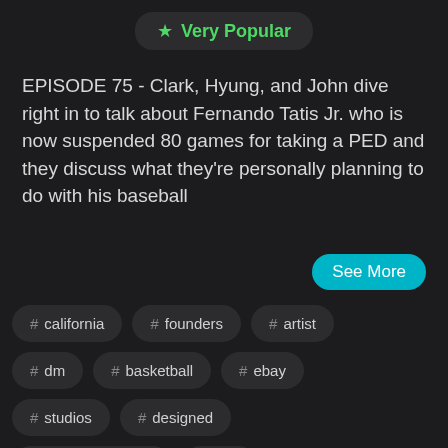★ Very Popular
EPISODE 75 - Clark, Hyung, and John dive right in to talk about Fernando Tatis Jr. who is now suspended 80 games for taking a PED and they discuss what they're personally planning to do with his baseball
See More
# california
# founders
# artist
# dm
# basketball
# ebay
# studios
# designed
# mount rushmore
# ped
fernando tatis jr
# newport beach